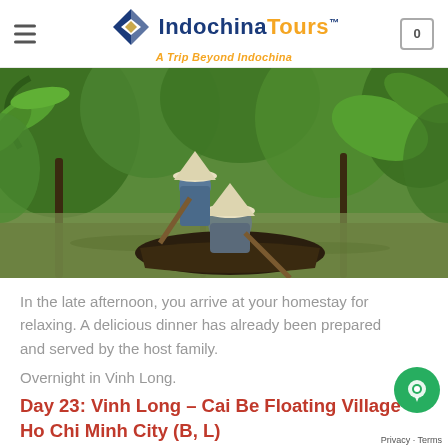IndochinaToursâ„¢ - A Trip Beyond Indochina
[Figure (photo): Two Vietnamese people in traditional conical hats rowing a wooden boat through a narrow jungle waterway surrounded by dense tropical green vegetation and palm trees.]
In the late afternoon, you arrive at your homestay for relaxing. A delicious dinner has already been prepared and served by the host family.
Overnight in Vinh Long.
Day 23: Vinh Long – Cai Be Floating Village – Ho Chi Minh City (B, L)